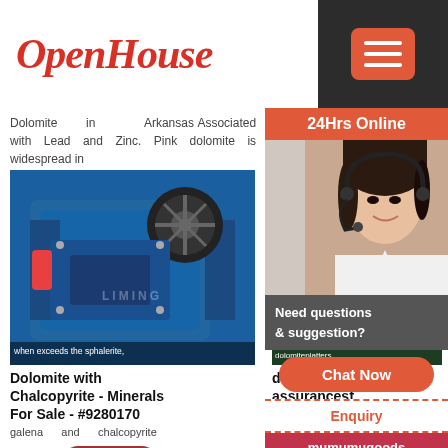[Figure (logo): OpenHouse logo in red italic script font]
[Figure (other): Hamburger menu button (three horizontal lines) on dark background]
Dolomite in Arkansas Associated with Lead and Zinc. Pink dolomite is widespread in
Hoxie (Black Rock Quarry), Lawrence County, Arkansas, USA. € 32.00 *Prices include
[Figure (photo): Blue industrial jaw crusher machine with LIMING watermark]
[Figure (photo): Quarry/mining site with yellow cliffs and green water]
when exceeds the sphalerite,
Dolomite with Chalcopyrite - Minerals For Sale - #9280170
galena and chalcopyrite
dolomite pi assurancesf
Quantity
[Figure (other): More button - red rounded button]
Dolomite with specimen number: 9280170.
prices of p arkansas. p dolomite in
[Figure (other): 24Hrs Online bar with chat agent photo, Need questions & suggestion? Chat Now button, Enquiry link, mumumugoods footer]
[Figure (photo): Bottom partial image left column]
[Figure (photo): Bottom partial image right column]